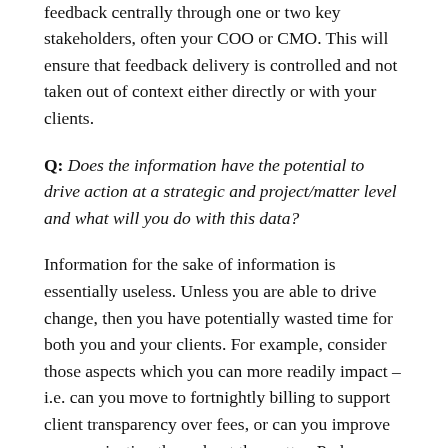content or as an example of a trend. Manage the feedback centrally through one or two key stakeholders, often your COO or CMO. This will ensure that feedback delivery is controlled and not taken out of context either directly or with your clients.
Q: Does the information have the potential to drive action at a strategic and project/matter level and what will you do with this data?
Information for the sake of information is essentially useless. Unless you are able to drive change, then you have potentially wasted time for both you and your clients. For example, consider those aspects which you can more readily impact – i.e. can you move to fortnightly billing to support client transparency over fees, or can you improve communication throughout the matter. Perhaps your virtual meeting tools are not easy for your clients to access (Microsoft Teams or BlueJeans etc). Choose items which will make direct impact based on the feedback and priorities within.